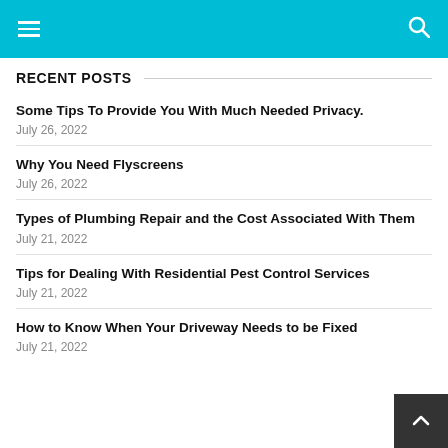RECENT POSTS
Some Tips To Provide You With Much Needed Privacy.
July 26, 2022
Why You Need Flyscreens
July 26, 2022
Types of Plumbing Repair and the Cost Associated With Them
July 21, 2022
Tips for Dealing With Residential Pest Control Services
July 21, 2022
How to Know When Your Driveway Needs to be Fixed
July 21, 2022